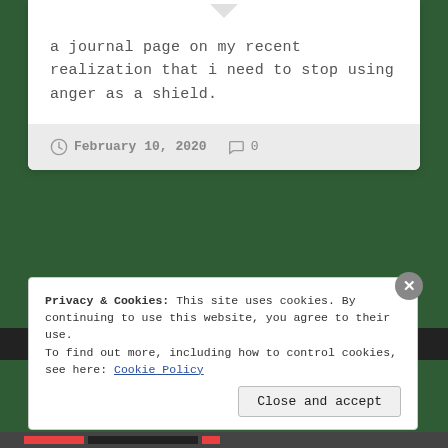a journal page on my recent realization that i need to stop using anger as a shield.
February 10, 2020   0
Privacy & Cookies: This site uses cookies. By continuing to use this website, you agree to their use.
To find out more, including how to control cookies, see here: Cookie Policy
Close and accept